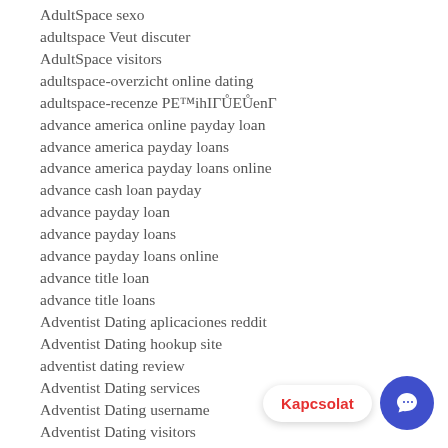AdultSpace sexo
adultspace Veut discuter
AdultSpace visitors
adultspace-overzicht online dating
adultspace-recenze PE™ihIГŮEŮenГ
advance america online payday loan
advance america payday loans
advance america payday loans online
advance cash loan payday
advance payday loan
advance payday loans
advance payday loans online
advance title loan
advance title loans
Adventist Dating aplicaciones reddit
Adventist Dating hookup site
adventist dating review
Adventist Dating services
Adventist Dating username
Adventist Dating visitors